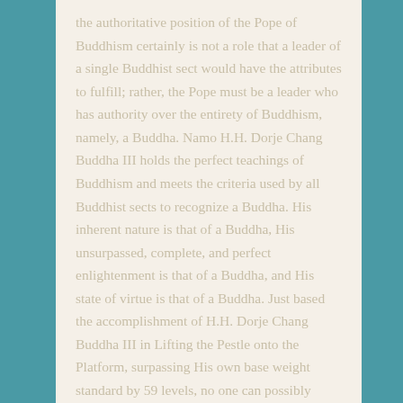the authoritative position of the Pope of Buddhism certainly is not a role that a leader of a single Buddhist sect would have the attributes to fulfill; rather, the Pope must be a leader who has authority over the entirety of Buddhism, namely, a Buddha. Namo H.H. Dorje Chang Buddha III holds the perfect teachings of Buddhism and meets the criteria used by all Buddhist sects to recognize a Buddha. His inherent nature is that of a Buddha, His unsurpassed, complete, and perfect enlightenment is that of a Buddha, and His state of virtue is that of a Buddha. Just based the accomplishment of H.H. Dorje Chang Buddha III in Lifting the Pestle onto the Platform, surpassing His own base weight standard by 59 levels, no one can possibly match such a record. H.H. Dorje Chang Buddha III also has perfect mastery of Exoteric and Esoteric Buddhism, perfect accomplishments in the Five Vidyas, and so forth, all of which truly are attributes of the